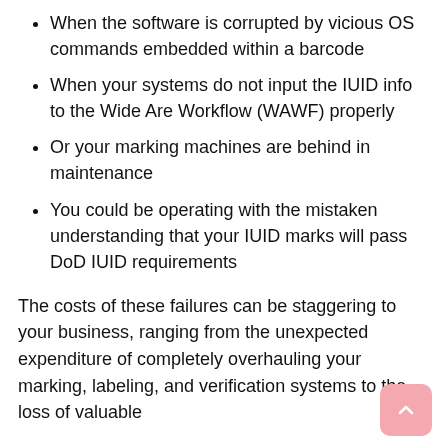When the software is corrupted by vicious OS commands embedded within a barcode
When your systems do not input the IUID info to the Wide Are Workflow (WAWF) properly
Or your marking machines are behind in maintenance
You could be operating with the mistaken understanding that your IUID marks will pass DoD IUID requirements
The costs of these failures can be staggering to your business, ranging from the unexpected expenditure of completely overhauling your marking, labeling, and verification systems to the loss of valuable